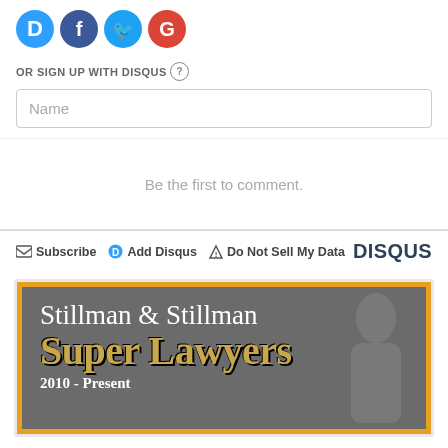[Figure (other): Social login icons: Disqus (blue D), Facebook (blue f), Twitter (blue bird), Google (red G) as colored circles]
OR SIGN UP WITH DISQUS ?
Name
Be the first to comment.
Subscribe  Add Disqus  Do Not Sell My Data  DISQUS
[Figure (illustration): Stillman & Stillman Super Lawyers 2010 - Present advertisement banner with gold border on grey background]